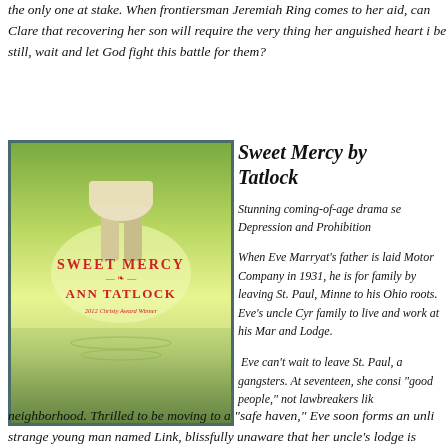the only one at stake. When frontiersman Jeremiah Ring comes to her aid, can Clare that recovering her son will require the very thing her anguished heart i be still, wait and let God fight this battle for them?
[Figure (photo): Book cover of 'Sweet Mercy' by Ann Tatlock, showing a girl standing in water with a reflection, with red title text and author name. Labeled as 2012 Christy Award Winner.]
Sweet Mercy by Tatlock
Stunning coming-of-age drama set Depression and Prohibition
When Eve Marryat's father is laid off from Motor Company in 1931, he is forced to move his family by leaving St. Paul, Minnesota, to return to his Ohio roots. Eve's uncle Cyr invites the family to live and work at his Man and Lodge.
Eve can't wait to leave St. Paul, a city full of gangsters. At seventeen, she considers herself "good people," not lawbreakers like neighborhood. Thrilled to be moving to a "safe haven," Eve soon forms an unlikely strange young man named Link, blissfully unaware that her uncle's lodge is